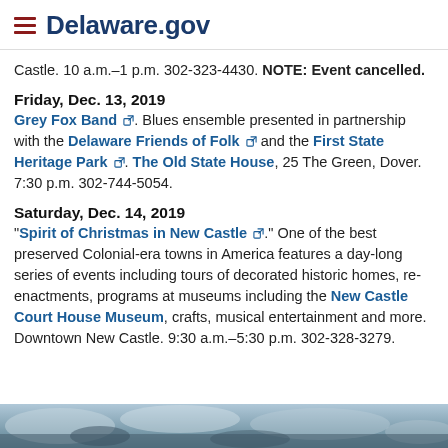Delaware.gov
Castle. 10 a.m.–1 p.m. 302-323-4430. NOTE: Event cancelled.
Friday, Dec. 13, 2019
Grey Fox Band. Blues ensemble presented in partnership with the Delaware Friends of Folk and the First State Heritage Park. The Old State House, 25 The Green, Dover. 7:30 p.m. 302-744-5054.
Saturday, Dec. 14, 2019
"Spirit of Christmas in New Castle." One of the best preserved Colonial-era towns in America features a day-long series of events including tours of decorated historic homes, re-enactments, programs at museums including the New Castle Court House Museum, crafts, musical entertainment and more. Downtown New Castle. 9:30 a.m.–5:30 p.m. 302-328-3279.
[Figure (photo): Bottom partial photograph of a winter/natural scene, likely outdoors]